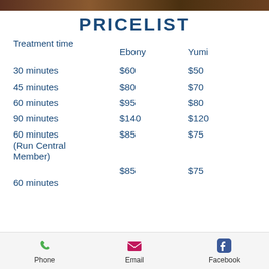[Figure (photo): Top banner image, landscape/outdoor photo strip]
PRICELIST
| Treatment time | Ebony | Yumi |
| --- | --- | --- |
| 30 minutes | $60 | $50 |
| 45 minutes | $80 | $70 |
| 60 minutes | $95 | $80 |
| 90 minutes | $140 | $120 |
| 60 minutes (Run Central Member) | $85 | $75 |
| 60 minutes | $85 | $75 |
Phone   Email   Facebook